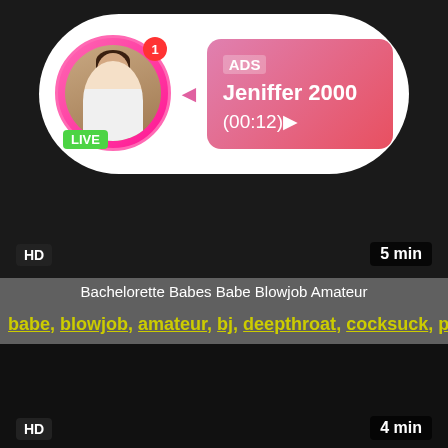[Figure (screenshot): Video thumbnail with ad overlay showing profile photo with LIVE badge, ADS label, name Jeniffer 2000, time (00:12), HD badge, 5 min duration]
Bachelorette Babes Babe Blowjob Amateur
babe, blowjob, amateur, bj, deepthroat, cocksuck, party, o...
[Figure (screenshot): Dark video thumbnail with HD badge and 4 min duration label]